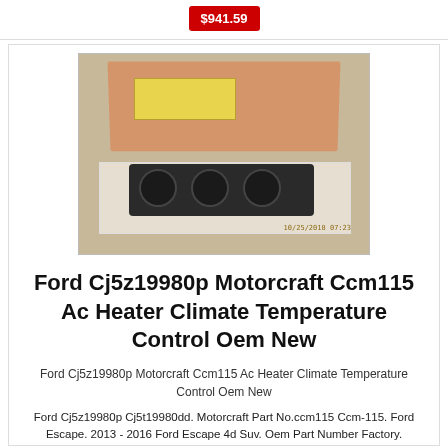$941.59
[Figure (photo): Product photo of Ford Cj5z19980p Motorcraft Ccm115 AC Heater Climate Temperature Control OEM New part in open cardboard box with yellow label, control module with three knobs shown on foam padding, with timestamp 10/25/2018 07:23]
Ford Cj5z19980p Motorcraft Ccm115 Ac Heater Climate Temperature Control Oem New
Ford Cj5z19980p Motorcraft Ccm115 Ac Heater Climate Temperature Control Oem New
Ford Cj5z19980p Cj5t19980dd. Motorcraft Part No.ccm115 Ccm-115. Ford Escape. 2013 - 2016 Ford Escape 4d Suv. Oem Part Number Factory.